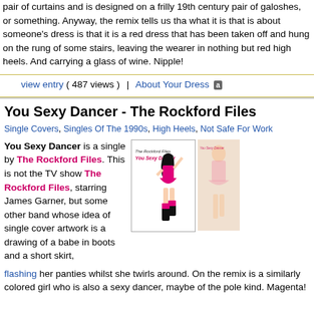pair of curtains and is designed on a frilly 19th century pair of galoshes, or something. Anyway, the remix tells us that what it is that is about someone's dress is that it is a red dress that has been taken off and hung on the rung of some stairs, leaving the wearer in nothing but red high heels. And carrying a glass of wine. Nipple!
view entry ( 487 views ) | About Your Dress
You Sexy Dancer - The Rockford Files
Single Covers, Singles Of The 1990s, High Heels, Not Safe For Work
You Sexy Dancer is a single by The Rockford Files. This is not the TV show The Rockford Files, starring James Garner, but some other band whose idea of single cover artwork is a drawing of a babe in boots and a short skirt, flashing her panties whilst she twirls around. On the remix is a similarly colored girl who is also a sexy dancer, maybe of the pole kind. Magenta!
[Figure (illustration): Single cover art for You Sexy Dancer by The Rockford Files, showing a drawn woman in a pink skirt and black boots twirling]
[Figure (photo): Blurred/partially visible image of a similarly colored girl dancer]